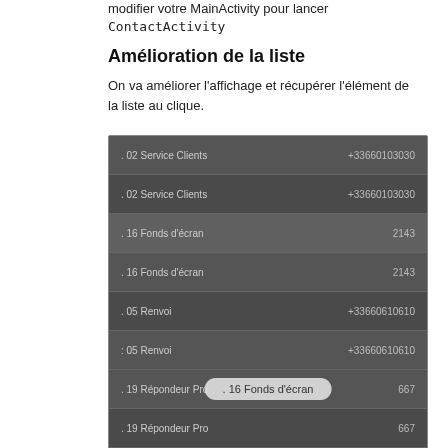modifier votre MainActivity pour lancer ContactActivity
Amélioration de la liste
On va améliorer l'affichage et récupérer l'élément de la liste au clique.
[Figure (screenshot): Android app screenshot showing a contact list with entries like '02 Service Clients +33660103030', '16 Fonds d'écran 2143', '05 Renvoi +33660610610', '19 Répondeur Pro 667', with a toast popup showing '. 16 Fonds d'écran' and a navigation bar at the bottom.]